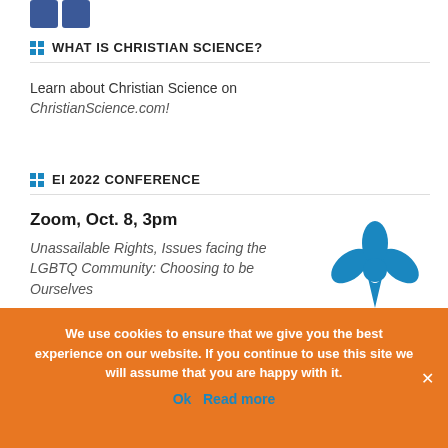[Figure (logo): Two blue Facebook-style icon squares side by side]
WHAT IS CHRISTIAN SCIENCE?
Learn about Christian Science on ChristianScience.com!
EI 2022 CONFERENCE
Zoom, Oct. 8, 3pm
Unassailable Rights, Issues facing the LGBTQ Community: Choosing to be Ourselves
More Information here
[Figure (logo): Blue fleur-de-lis style decorative logo]
We use cookies to ensure that we give you the best experience on our website. If you continue to use this site we will assume that you are happy with it.
Ok  Read more